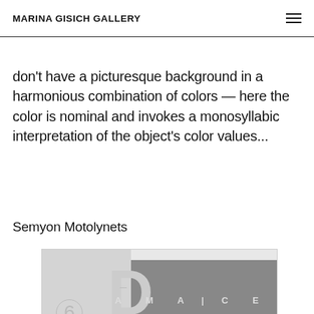MARINA GISICH GALLERY
likewise restricts the color spectrum used for the object of its environment. The small windows don't have a picturesque background in a harmonious combination of colors — here the color is nominal and invokes a monosyllabic interpretation of the object's color values...
Semyon Motolynets
[Figure (photo): Artwork image showing a light-toned panel on the left with a circled number 6, a large letter D overlapping a darker photographic panel on the right showing an interior space, with the text D A M A G E overlaid.]
6. D. DAMAGE